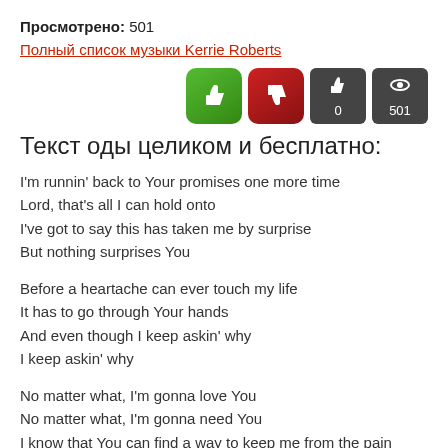Просмотрено: 501
Полный список музыки Kerrie Roberts
[Figure (infographic): Two thumb buttons (thumbs up green, thumbs down red) and two stat boxes showing like count 0 and view count 501]
Текст оды целиком и бесплатно:
I'm runnin' back to Your promises one more time
Lord, that's all I can hold onto
I've got to say this has taken me by surprise
But nothing surprises You
Before a heartache can ever touch my life
It has to go through Your hands
And even though I keep askin' why
I keep askin' why
No matter what, I'm gonna love You
No matter what, I'm gonna need You
I know that You can find a way to keep me from the pain
But if not, if not, I'll trust You